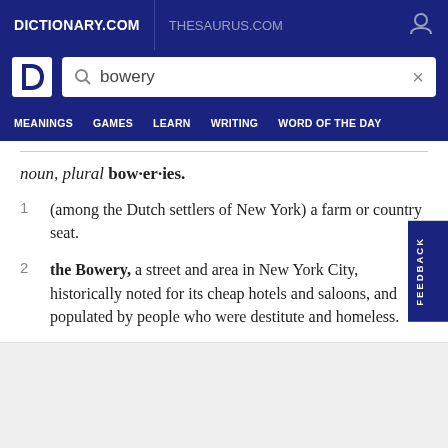DICTIONARY.COM | THESAURUS.COM
[Figure (screenshot): Dictionary.com logo with white D letter on dark blue background]
bowery (search query)
MEANINGS  GAMES  LEARN  WRITING  WORD OF THE DAY
noun, plural bow·er·ies.
1  (among the Dutch settlers of New York) a farm or country seat.
2  the Bowery, a street and area in New York City, historically noted for its cheap hotels and saloons, and populated by people who were destitute and homeless.